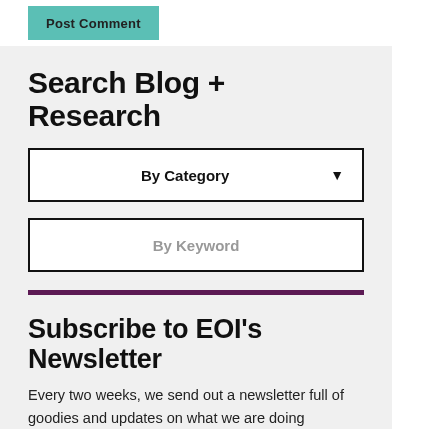Post Comment
Search Blog + Research
By Category
By Keyword
Subscribe to EOI's Newsletter
Every two weeks, we send out a newsletter full of goodies and updates on what we are doing